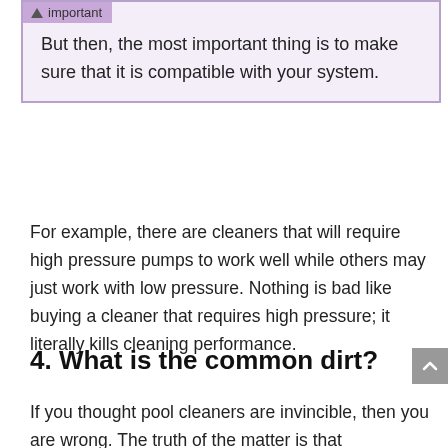important
But then, the most important thing is to make sure that it is compatible with your system.
For example, there are cleaners that will require high pressure pumps to work well while others may just work with low pressure. Nothing is bad like buying a cleaner that requires high pressure; it literally kills cleaning performance.
4. What is the common dirt?
If you thought pool cleaners are invincible, then you are wrong. The truth of the matter is that sometimes, they get overwhelmed with cleaning.